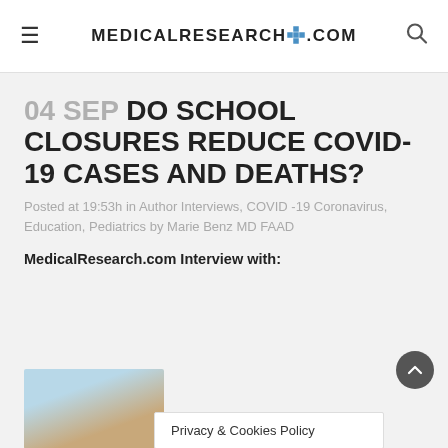MEDICALRESEARCH.COM
04 SEP DO SCHOOL CLOSURES REDUCE COVID-19 CASES AND DEATHS?
Posted at 19:53h in Author Interviews, COVID -19 Coronavirus, Education, Pediatrics by Marie Benz MD FAAD
MedicalResearch.com Interview with:
[Figure (photo): Portrait photo of Katherine A. S., a person with curly hair]
Katherine A. S.
Privacy & Cookies Policy